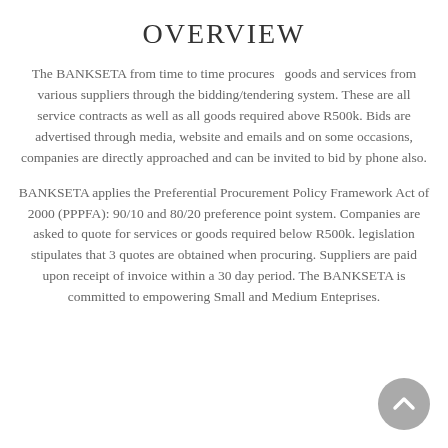OVERVIEW
The BANKSETA from time to time procures goods and services from various suppliers through the bidding/tendering system. These are all service contracts as well as all goods required above R500k. Bids are advertised through media, website and emails and on some occasions, companies are directly approached and can be invited to bid by phone also.
BANKSETA applies the Preferential Procurement Policy Framework Act of 2000 (PPPFA): 90/10 and 80/20 preference point system. Companies are asked to quote for services or goods required below R500k. legislation stipulates that 3 quotes are obtained when procuring. Suppliers are paid upon receipt of invoice within a 30 day period. The BANKSETA is committed to empowering Small and Medium Enteprises.